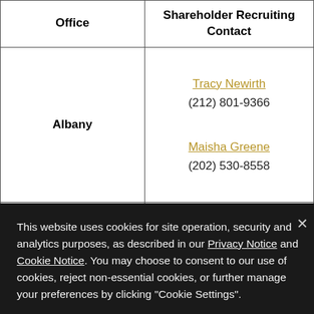| Office | Shareholder Recruiting Contact |  |
| --- | --- | --- |
| Albany | Tracy Newirth
(212) 801-9366
Maisha Greene
(202) 530-8558 |  |
|  | Regina McCaffery... |  |
This website uses cookies for site operation, security and analytics purposes, as described in our Privacy Notice and Cookie Notice. You may choose to consent to our use of cookies, reject non-essential cookies, or further manage your preferences by clicking "Cookie Settings".